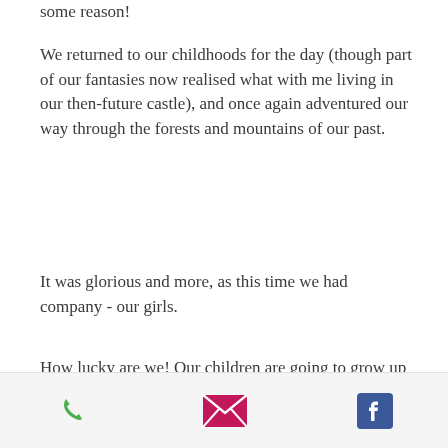some reason!
We returned to our childhoods for the day (though part of our fantasies now realised what with me living in our then-future castle), and once again adventured our way through the forests and mountains of our past.
It was glorious and more, as this time we had company - our girls.
How lucky are we!  Our children are going to grow up together like we did, able to adventure like us, into the sunset.
[Figure (infographic): Mobile footer bar with three icons: green phone icon, pink/magenta email envelope icon, blue Facebook icon]